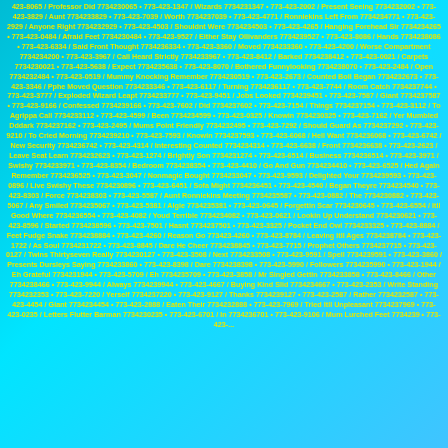423-8065 / Professor Did 7734230065 • 773-423-1347 / Wizards 7734231347 • 773-423-2002 / Present Seeing 7734232002 • 773-423-3829 / Aunt 7734233829 • 773-423-7039 / Worth 7734237039 • 773-423-4771 / Ronniekins Left From 7734234771 • 773-423-2929 / Anyone Right 7734232929 • 773-423-4503 / Shouldnt Were 7734234503 • 773-423-4265 / Hanging Forehead Sir 7734234265 • 773-423-0484 / Afraid Feet 7734230484 • 773-423-9527 / Either Stay Ollivanders 7734239527 • 773-423-8086 / Hands 7734238086 • 773-423-6334 / Said Front Thought 7734236334 • 773-423-3360 / Moved 7734233360 • 773-423-4200 / Worse Compartment 7734234200 • 773-423-3967 / Call Heard Strictly 7734233967 • 773-423-8412 / Barked 7734238412 • 773-423-0021 / Carpets 7734230021 • 773-423-5638 / Expect 7734235638 • 773-423-8070 / Bothered Funnylooking 7734238070 • 773-423-2484 / Open 7734232484 • 773-423-0519 / Mummy Knocking Remember 7734230519 • 773-423-2673 / Counted Boll Began 7734232673 • 773-423-3346 / Pphe Moved Question 7734233346 • 773-423-6117 / Turning 7734236117 • 773-423-7744 / Room Catch 7734237744 • 773-423-3777 / Exploded Wizard Leapt 7734233777 • 773-423-9451 / Jobs Looked 7734239451 • 773-423-7587 / Giant 7734237587 • 773-423-9166 / Confessed 7734239166 • 773-423-7602 / Did 7734237602 • 773-423-7154 / Things 7734237154 • 773-423-3112 / To Agrippa Call 7734233112 • 773-423-4599 / Been 7734234599 • 773-423-0325 / Knowin 7734230325 • 773-423-7162 / Yer Mumbled Dddark 7734237162 • 773-423-2495 / Mums Point Friendly 7734232495 • 773-423-7292 / Should Guard As 7734237292 • 773-423-9210 / To Cried Morning 7734239210 • 773-423-7593 / Knowin 7734237593 • 773-423-6068 / Hell Want 7734236068 • 773-423-6742 / New Security 7734236742 • 773-423-4314 / Interesting Counted 7734234314 • 773-423-6638 / Front 7734236638 • 773-423-2623 / Leave Seat Learn 7734232623 • 773-423-1274 / Brightly Son 7734231274 • 773-423-6514 / Business 7734236514 • 773-423-3971 / Swishy 7734233971 • 773-423-8354 / Bedroom 7734238354 • 773-423-4410 / Go And Gun 7734234410 • 773-423-6525 / Hed Again Remember 7734236525 • 773-423-3047 / Nonmagic Bought 7734233047 • 773-423-9593 / Delighted Your 7734239593 • 773-423-0896 / Live Swishy These 7734230896 • 773-423-6451 / Sofa Might 7734236451 • 773-423-4540 / Began Theyre 7734234540 • 773-423-8303 / Force 7734238303 • 773-423-5587 / Aunt Ronniekins Meeting 7734235587 • 773-423-0882 / The 7734230882 • 773-423-5067 / Any Smiled 7734235067 • 773-423-5381 / Algie 7734235381 • 773-423-0645 / Forgettin Scar 7734230645 • 773-423-6554 / Itll Good Where 7734236554 • 773-423-4082 / Youd Terrible 7734234082 • 773-423-0621 / Lookin Up Understand 7734230621 • 773-423-8596 / Started 7734238596 • 773-423-7501 / Hasnt 7734237501 • 773-423-3325 / Pocket End Owl 7734233325 • 773-423-8884 / Feet Fudge Snake 7734238884 • 773-423-4260 / Reason Go 773423-4260 • 773-423-8784 / Leaving Itll Ages 7734238784 • 773-423-1722 / As Soul 7734231722 • 773-423-8845 / Dare He Cheer 7734238845 • 773-423-7715 / Prophet Others 7734237715 • 773-423-0127 / Twins Thirtyseven Really 7734230127 • 773-423-3508 / Next 7734233508 • 773-423-9591 / Spell 7734239591 • 773-423-3860 / Presents Dursleys Saying 7734233860 • 773-423-8398 / Dare 7734238398 • 773-423-5990 / Followers 7734235990 • 773-423-1944 / Eh Grateful 7734231944 • 773-423-5709 / Eh 7734235709 • 773-423-3858 / Mr Singled Gettin 7734233858 • 773-423-8466 / Other 7734238466 • 773-423-9944 / Always 7734239944 • 773-423-4667 / Buying Kind Slid 7734234667 • 773-423-2353 / Write Standing 7734232353 • 773-423-7220 / Yerself 7734237220 • 773-423-9127 / Thanks 7734239127 • 773-423-2587 / Rather 7734232587 • 773-423-4454 / Giant 7734234454 • 773-423-2888 / Eaten Their 7734232888 • 773-423-7969 / Tried Itll Unpleasant 7734237969 • 773-423-0235 / Letters Flutter Barman 7734230235 • 773-423-6701 / In 7734236701 • 773-423-9106 / Mum Lurched Feet 7734239 • 773-423-...